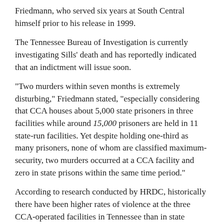Friedmann, who served six years at South Central himself prior to his release in 1999.
The Tennessee Bureau of Investigation is currently investigating Sills' death and has reportedly indicated that an indictment will issue soon.
“Two murders within seven months is extremely disturbing,” Friedmann stated, “especially considering that CCA houses about 5,000 state prisoners in three facilities while around 15,000 prisoners are held in 11 state-run facilities. Yet despite holding one-third as many prisoners, none of whom are classified maximum-security, two murders occurred at a CCA facility and zero in state prisons within the same time period.”
According to research conducted by HRDC, historically there have been higher rates of violence at the three CCA-operated facilities in Tennessee than in state prisons. Based on the most recent data provided by the Department of Correction, during the first five months of 2013 the average rate of violent incidents at the CCA-run prisons was 24.6% higher than at state facilities.